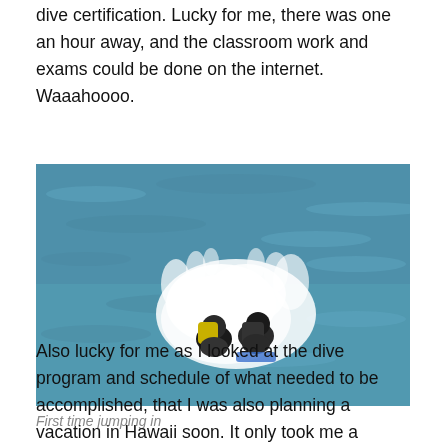dive certification. Lucky for me, there was one an hour away, and the classroom work and exams could be done on the internet. Waaahoooo.
[Figure (photo): Aerial view of two divers jumping into the ocean, with white water splash visible and teal blue sea water around them. Divers wearing wetsuits, one with a yellow vest.]
First time jumping in
Also lucky for me as I looked at the dive program and schedule of what needed to be accomplished, that I was also planning a vacation in Hawaii soon. It only took me a couple weeks to complete the on-line part of the PADI